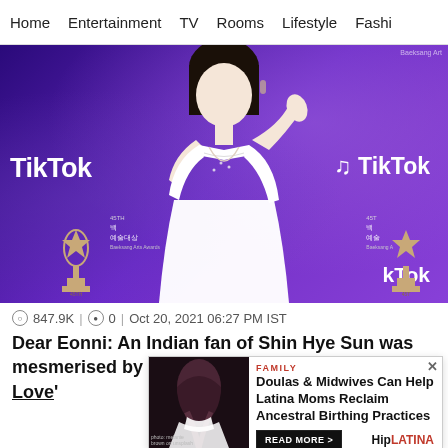Home | Entertainment | TV | Rooms | Lifestyle | Fashion
[Figure (photo): Woman in white lace dress at a TikTok-branded awards ceremony (Baeksang Arts Awards), waving at camera. Purple background with TikTok logos and award trophies visible.]
847.9K | 0 | Oct 20, 2021 06:27 PM IST
Dear Eonni: An Indian fan of Shin Hye Sun was mesmerised by her in 'Angel's Last Mission: Love'
[Figure (other): Advertisement: FAMILY - Doulas & Midwives Can Help Latina Moms Reclaim Ancestral Birthing Practices. READ MORE > HipLATINA. Ad shows a woman in white dress in a dark outdoor setting. Photo credit: melanie brown on unsplash]